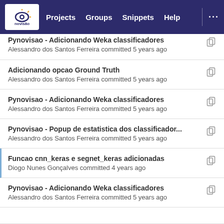Projects | Groups | Snippets | Help
Pynovisao - Adicionando Weka classificadores
Alessandro dos Santos Ferreira committed 5 years ago
Adicionando opcao Ground Truth
Alessandro dos Santos Ferreira committed 5 years ago
Pynovisao - Adicionando Weka classificadores
Alessandro dos Santos Ferreira committed 5 years ago
Pynovisao - Popup de estatistica dos classificador...
Alessandro dos Santos Ferreira committed 5 years ago
Funcao cnn_keras e segnet_keras adicionadas
Diogo Nunes Gonçalves committed 4 years ago
Pynovisao - Adicionando Weka classificadores
Alessandro dos Santos Ferreira committed 5 years ago
Pynovisao - Popup de estatistica dos classificador...(partial)